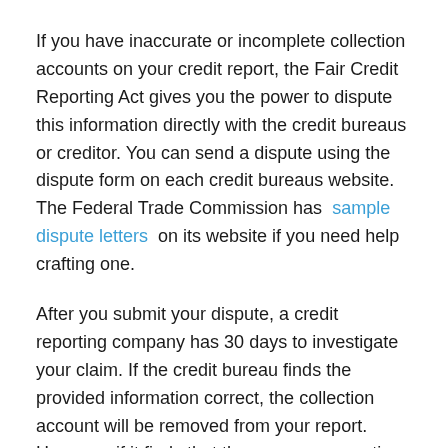If you have inaccurate or incomplete collection accounts on your credit report, the Fair Credit Reporting Act gives you the power to dispute this information directly with the credit bureaus or creditor. You can send a dispute using the dispute form on each credit bureaus website. The Federal Trade Commission has sample dispute letters on its website if you need help crafting one.
After you submit your dispute, a credit reporting company has 30 days to investigate your claim. If the credit bureau finds the provided information correct, the collection account will be removed from your report. However, if it finds that the company reporting the information was correct, the collection account will stay on your report for up to seven years.
How Do You Get A Collection...